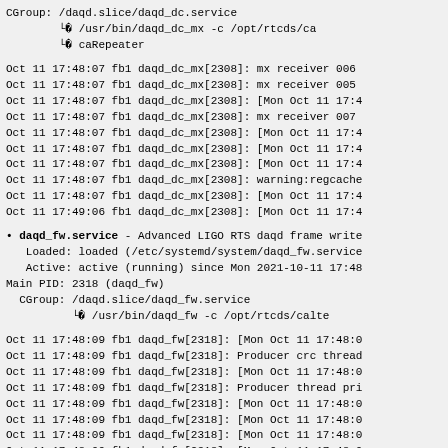CGroup: /daqd.slice/daqd_dc.service
        └─2308 /usr/bin/daqd_dc_mx -c /opt/rtcds/ca
        └─2370 caRepeater
Oct 11 17:48:07 fb1 daqd_dc_mx[2308]: mx receiver 006
Oct 11 17:48:07 fb1 daqd_dc_mx[2308]: mx receiver 005
Oct 11 17:48:07 fb1 daqd_dc_mx[2308]: [Mon Oct 11 17:4
Oct 11 17:48:07 fb1 daqd_dc_mx[2308]: mx receiver 007
Oct 11 17:48:07 fb1 daqd_dc_mx[2308]: [Mon Oct 11 17:4
Oct 11 17:48:07 fb1 daqd_dc_mx[2308]: [Mon Oct 11 17:4
Oct 11 17:48:07 fb1 daqd_dc_mx[2308]: [Mon Oct 11 17:4
Oct 11 17:48:07 fb1 daqd_dc_mx[2308]: warning:regcache
Oct 11 17:48:07 fb1 daqd_dc_mx[2308]: [Mon Oct 11 17:4
Oct 11 17:49:06 fb1 daqd_dc_mx[2308]: [Mon Oct 11 17:4
daqd_fw.service - Advanced LIGO RTS daqd frame write
   Loaded: loaded (/etc/systemd/system/daqd_fw.service
   Active: active (running) since Mon 2021-10-11 17:48
Main PID: 2318 (daqd_fw)
  CGroup: /daqd.slice/daqd_fw.service
          └─2318 /usr/bin/daqd_fw -c /opt/rtcds/calte
Oct 11 17:48:09 fb1 daqd_fw[2318]: [Mon Oct 11 17:48:0
Oct 11 17:48:09 fb1 daqd_fw[2318]: Producer crc thread
Oct 11 17:48:09 fb1 daqd_fw[2318]: [Mon Oct 11 17:48:0
Oct 11 17:48:09 fb1 daqd_fw[2318]: Producer thread pri
Oct 11 17:48:09 fb1 daqd_fw[2318]: [Mon Oct 11 17:48:0
Oct 11 17:48:09 fb1 daqd_fw[2318]: [Mon Oct 11 17:48:0
Oct 11 17:48:09 fb1 daqd_fw[2318]: [Mon Oct 11 17:48:0
Oct 11 17:48:09 fb1 daqd_fw[2318]: [Mon Oct 11 17:48:0
Oct 11 17:48:10 fb1 daqd_fw[2318]: [Mon Oct 11 17:48: